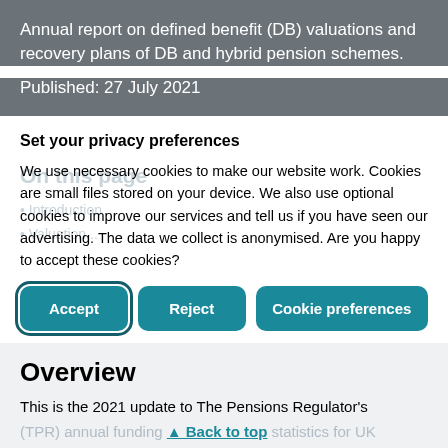Annual report on defined benefit (DB) valuations and recovery plans of DB and hybrid pension schemes.
Published: 27 July 2021
Set your privacy preferences
We use necessary cookies to make our website work. Cookies are small files stored on your device. We also use optional cookies to improve our services and tell us if you have seen our advertising. The data we collect is anonymised. Are you happy to accept these cookies?
Overview
This is the 2021 update to The Pensions Regulator's (TPR) annual funding statistics for UK defined benefit (DB) and hybrid schemes. The underlying data is